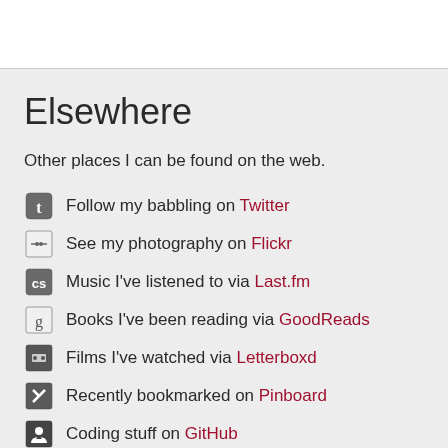Elsewhere
Other places I can be found on the web.
Follow my babbling on Twitter
See my photography on Flickr
Music I've listened to via Last.fm
Books I've been reading via GoodReads
Films I've watched via Letterboxd
Recently bookmarked on Pinboard
Coding stuff on GitHub